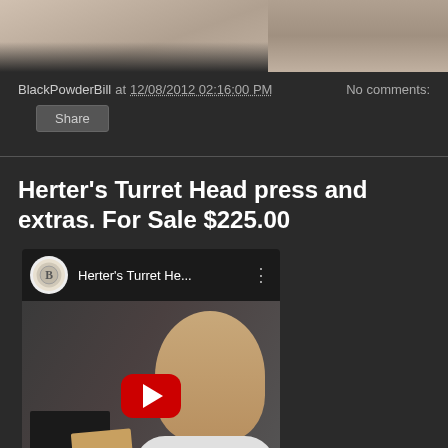[Figure (screenshot): Top portion of a video thumbnail showing a person in a light-colored shirt against a dark background]
BlackPowderBill at 12/08/2012 02:16:00 PM    No comments:
Share
Herter's Turret Head press and extras. For Sale $225.00
[Figure (screenshot): Embedded YouTube video player showing 'Herter's Turret He...' with a man holding a small card/label, YouTube play button overlay visible]